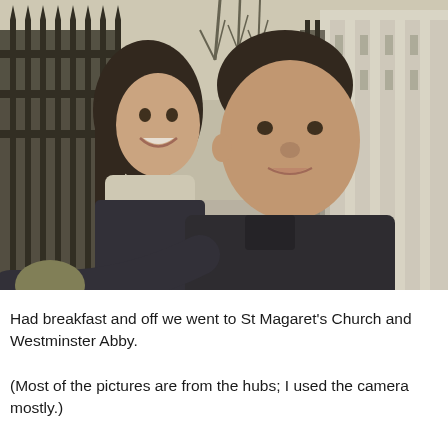[Figure (photo): A selfie photo of a smiling Asian couple (a woman on the left wearing a light scarf and dark jacket, and a man on the right in a dark coat) in front of ornate iron gates and a white stone building, likely near Westminster/St Margaret's Church in London. Bare trees visible in the background. The image has a slightly desaturated, cool tone.]
Had breakfast and off we went to St Magaret's Church and Westminster Abby.
(Most of the pictures are from the hubs; I used the camera mostly.)